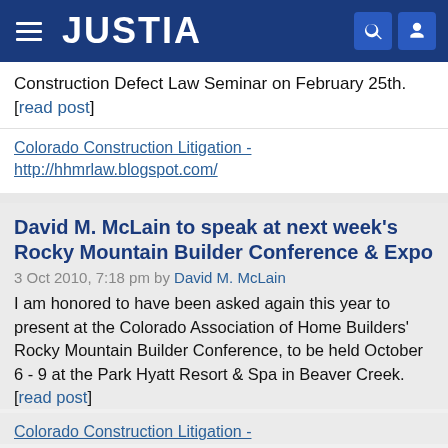JUSTIA
Construction Defect Law Seminar on February 25th. [read post]
Colorado Construction Litigation - http://hhmrlaw.blogspot.com/
David M. McLain to speak at next week's Rocky Mountain Builder Conference & Expo
3 Oct 2010, 7:18 pm by David M. McLain
I am honored to have been asked again this year to present at the Colorado Association of Home Builders' Rocky Mountain Builder Conference, to be held October 6 - 9 at the Park Hyatt Resort & Spa in Beaver Creek. [read post]
Colorado Construction Litigation -